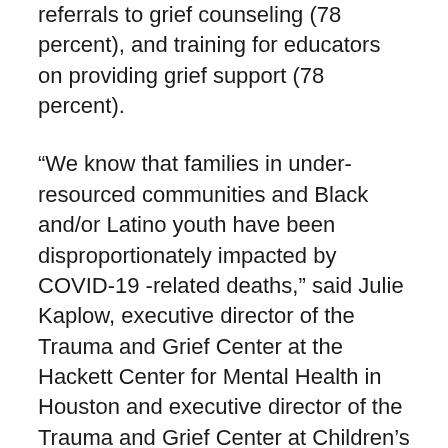referrals to grief counseling (78 percent), and training for educators on providing grief support (78 percent).
“We know that families in under-resourced communities and Black and/or Latino youth have been disproportionately impacted by COVID-19 -related deaths,” said Julie Kaplow, executive director of the Trauma and Grief Center at the Hackett Center for Mental Health in Houston and executive director of the Trauma and Grief Center at Children’s Hospital New Orleans. “Unfortunately, these are often the same children and families who have already suffered from prior traumas and losses, making the additional deaths due to the pandemic even more impactful.”
“Historically, we have been a grief-averse